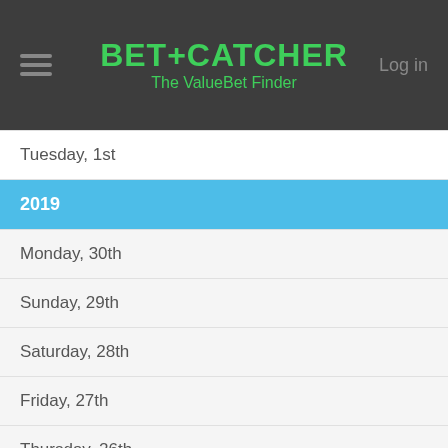BET+CATCHER The ValueBet Finder
Tuesday, 1st
2019
Monday, 30th
Sunday, 29th
Saturday, 28th
Friday, 27th
Thursday, 26th
Wednesday, 25th
Tuesday, 24th
Monday, 23rd
Sunday, 22nd
Saturday, 21st
Friday, 20th